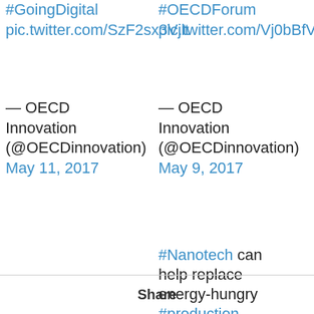#GoingDigital pic.twitter.com/SzF2sx3Vjlt
#OECDForum pic.twitter.com/Vj0bBfVh2
— OECD Innovation (@OECDinnovation) May 11, 2017
— OECD Innovation (@OECDinnovation) May 9, 2017
#Nanotech can help replace energy-hungry #production processes w/ low-cost processes ⚡https://t.co/VWMb2JoXa
Share